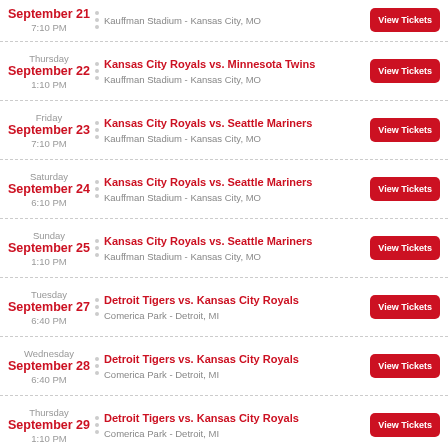September 21 7:10 PM | Kauffman Stadium - Kansas City, MO | View Tickets
Thursday September 22 1:10 PM | Kansas City Royals vs. Minnesota Twins | Kauffman Stadium - Kansas City, MO | View Tickets
Friday September 23 7:10 PM | Kansas City Royals vs. Seattle Mariners | Kauffman Stadium - Kansas City, MO | View Tickets
Saturday September 24 6:10 PM | Kansas City Royals vs. Seattle Mariners | Kauffman Stadium - Kansas City, MO | View Tickets
Sunday September 25 1:10 PM | Kansas City Royals vs. Seattle Mariners | Kauffman Stadium - Kansas City, MO | View Tickets
Tuesday September 27 6:40 PM | Detroit Tigers vs. Kansas City Royals | Comerica Park - Detroit, MI | View Tickets
Wednesday September 28 6:40 PM | Detroit Tigers vs. Kansas City Royals | Comerica Park - Detroit, MI | View Tickets
Thursday September 29 1:10 PM | Detroit Tigers vs. Kansas City Royals | Comerica Park - Detroit, MI | View Tickets